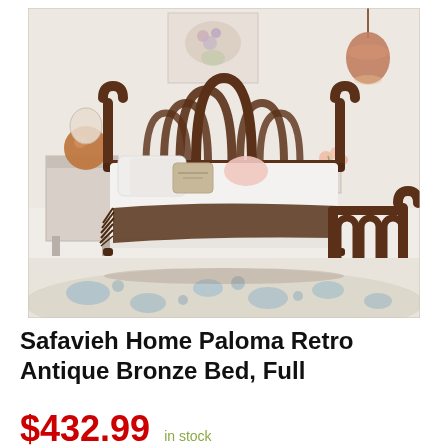[Figure (photo): A styled bedroom scene featuring the Safavieh Home Paloma Retro Antique Bronze Bed with an ornate Art Deco-style metal headboard with arched fan design and matching footboard with oval loops. The bed has white bedding with a brown throw blanket. A copper pendant light hangs from the ceiling. A nightstand with a copper lamp is on the left. A blue floral patterned rug is on the floor.]
Safavieh Home Paloma Retro Antique Bronze Bed, Full
$432.99 in stock